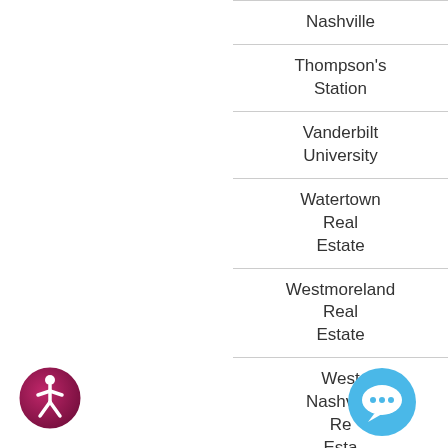Nashville
Thompson's Station
Vanderbilt University
Watertown Real Estate
Westmoreland Real Estate
West Nashville Real Estate
[Figure (illustration): Accessibility icon: circular badge with person figure, dark pink/magenta gradient]
[Figure (illustration): Chat bubble icon: circular blue button with speech bubble symbol]